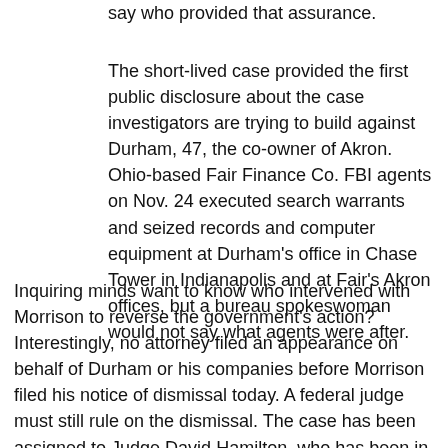say who provided that assurance.
The short-lived case provided the first public disclosure about the case investigators are trying to build against Durham, 47, the co-owner of Akron. Ohio-based Fair Finance Co. FBI agents on Nov. 24 executed search warrants and seized records and computer equipment at Durham's office in Chase Tower in Indianapolis and at Fair's Akron offices, but a bureau spokeswoman would not say what agents were after.
Inquiring minds want to know who intervened with Morrison to reverse the government's action? Interestingly, no attorney filed an appearance on behalf of Durham or his companies before Morrison filed his notice of dismissal today. A federal judge must still rule on the dismissal. The case has been assigned to Judge David Hamilton, who has been in the process of transferring all of his cases to other judges in order to assume his new seat on the 7th Circuit Court of Appeals.